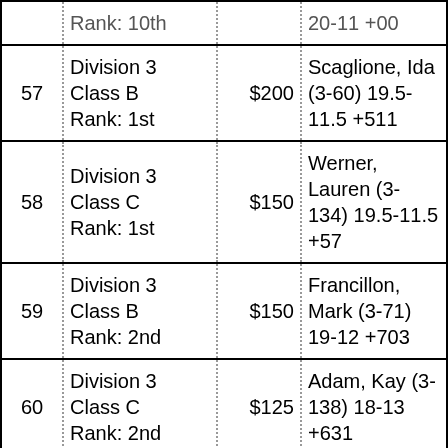| # | Category | Prize | Winner |
| --- | --- | --- | --- |
| 57 | Division 3
Class B
Rank: 1st | $200 | Scaglione, Ida (3-60) 19.5-11.5 +511 |
| 58 | Division 3
Class C
Rank: 1st | $150 | Werner, Lauren (3-134) 19.5-11.5 +57 |
| 59 | Division 3
Class B
Rank: 2nd | $150 | Francillon, Mark (3-71) 19-12 +703 |
| 60 | Division 3
Class C
Rank: 2nd | $125 | Adam, Kay (3-138) 18-13 +631 |
| 61 | Division 3
Class B
Rank: 3rd | $125 | Herdic, Susan (3-58) 19-12 +245 |
| 62 | Division 3
Class C | $100 | Hamilton, Mark (3-144) 17-14 +284 |